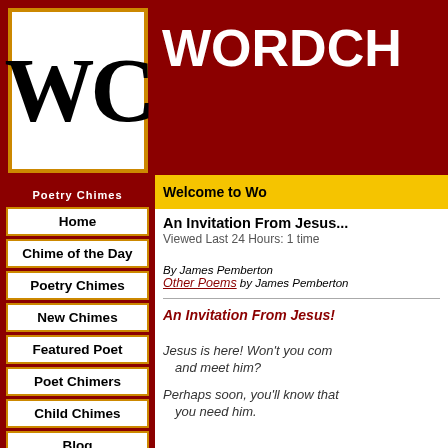[Figure (logo): WC logo in white box with gold border on dark red background, large serif WC initials]
WORDCH
Welcome to Wo
Poetry Chimes
Home
Chime of the Day
Poetry Chimes
New Chimes
Featured Poet
Poet Chimers
Child Chimes
Blog
Chime Links
An Invitation From Jesus...
Viewed Last 24 Hours: 1 time
By James Pemberton
Other Poems by James Pemberton
An Invitation From Jesus!
Jesus is here!  Won't you com
and meet him?
Perhaps soon, you'll know that
you need him.